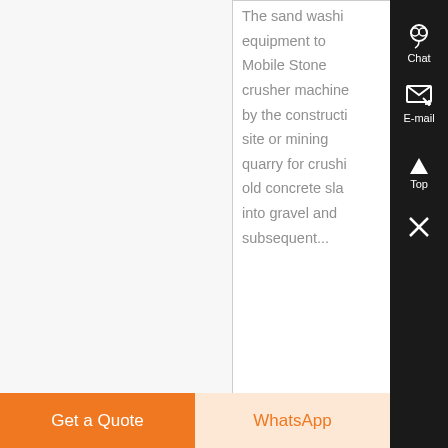The sand washing equipment to Mobile Stone crusher machine by the construction site or mining quarry for crushing old concrete slabs into gravel and subsequent...
Know More
Chat
E-mail
Top
Get a Quote
WhatsApp